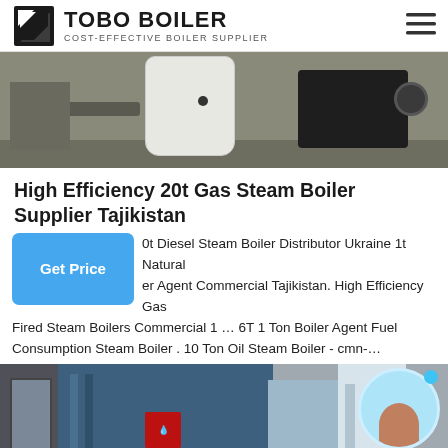TOBO BOILER — COST-EFFECTIVE BOILER SUPPLIER
[Figure (photo): Photo of a white cylindrical gas boiler with dark mechanical components on a concrete floor]
High Efficiency 20t Gas Steam Boiler Supplier Tajikistan
0t Diesel Steam Boiler Distributor Ukraine 1t Natural er Agent Commercial Tajikistan. High Efficiency Gas Fired Steam Boilers Commercial 1 … 6T 1 Ton Boiler Agent Fuel Consumption Steam Boiler . 10 Ton Oil Steam Boiler - cmn-…
[Figure (photo): Industrial blue gas steam boiler unit with silver panels and red logo badge, shown in a factory setting. WhatsApp button overlay at bottom left. Customer service avatar at top right.]